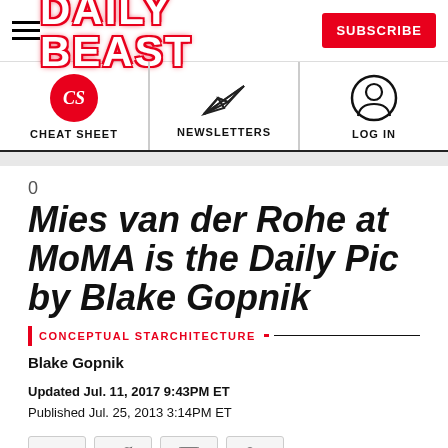DAILY BEAST
[Figure (logo): Navigation bar with Cheat Sheet (CS circle icon), Newsletters (paper plane icon), and Log In (user icon) sections]
0
Mies van der Rohe at MoMA is the Daily Pic by Blake Gopnik
CONCEPTUAL STARCHITECTURE
Blake Gopnik
Updated Jul. 11, 2017 9:43PM ET
Published Jul. 25, 2013 3:14PM ET